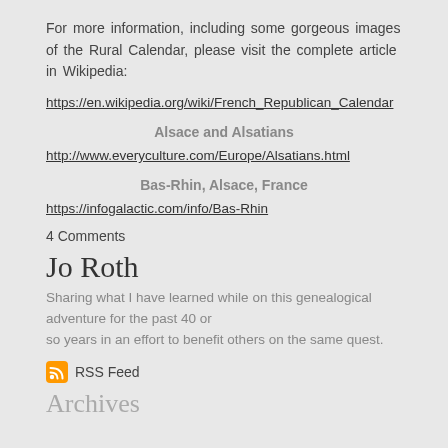For more information, including some gorgeous images of the Rural Calendar, please visit the complete article in Wikipedia:
https://en.wikipedia.org/wiki/French_Republican_Calendar
Alsace and Alsatians
http://www.everyculture.com/Europe/Alsatians.html
Bas-Rhin, Alsace, France
https://infogalactic.com/info/Bas-Rhin
4 Comments
Jo Roth
Sharing what I have learned while on this genealogical adventure for the past 40 or so years in an effort to benefit others on the same quest.
RSS Feed
Archives